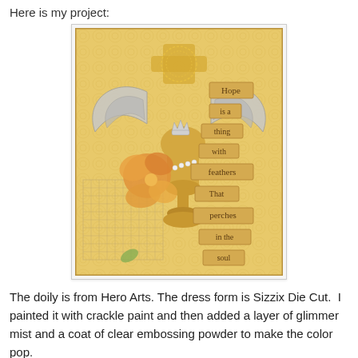Here is my project:
[Figure (photo): A handmade mixed-media craft card featuring a golden dress form with angel wings, a small crown, orange fabric flowers, pearls, and stamped text reading 'Hope is a thing with feathers That perches in the soul'. The background is aged yellow patterned paper with a chicken-wire mesh element.]
The doily is from Hero Arts. The dress form is Sizzix Die Cut.  I painted it with crackle paint and then added a layer of glimmer mist and a coat of clear embossing powder to make the color pop.